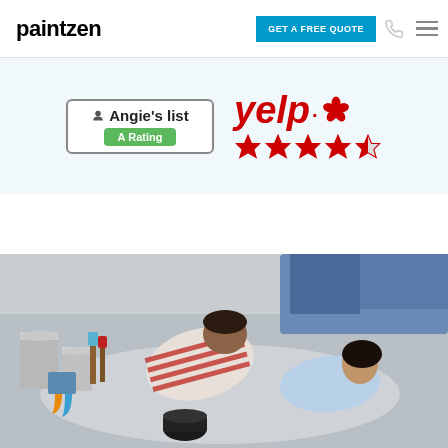paintzen — GET A FREE QUOTE
[Figure (logo): Angie's List A Rating badge and Yelp 4.5 star rating badge on light blue background]
[Figure (photo): Two people lying on the floor looking at paint color swatches surrounded by paint cans in orange, blue, and white]